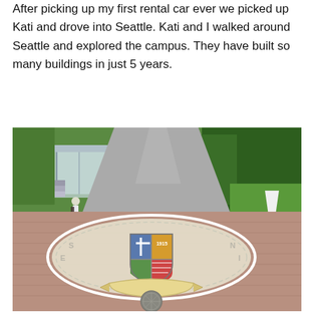After picking up my first rental car ever we picked up Kati and drove into Seattle. Kati and I walked around Seattle and explored the campus. They have built so many buildings in just 5 years.
[Figure (photo): Outdoor photo of a university campus road with a large painted school seal/crest on the brick plaza in the foreground. The seal is oval-shaped with a shield divided into four quadrants showing a cross, the year 1615, trees, and red stripes. A cream/beige banner ribbon runs below the shield. In the background is a tree-lined road curving left, a glass/metal pavilion structure on the left side, green lawns and tall trees on the right, and a sandwich board sign on the right. A person with a backpack stands on the left near the pavilion.]